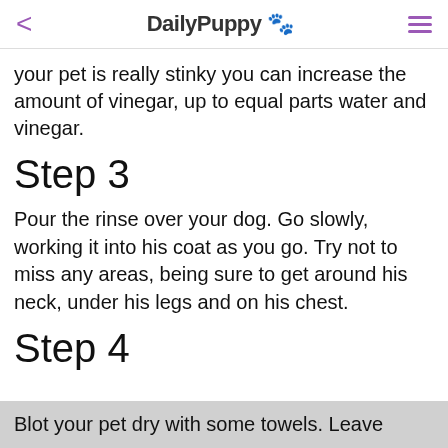< DailyPuppy 🐾 ☰
your pet is really stinky you can increase the amount of vinegar, up to equal parts water and vinegar.
Step 3
Pour the rinse over your dog. Go slowly, working it into his coat as you go. Try not to miss any areas, being sure to get around his neck, under his legs and on his chest.
Step 4
Blot your pet dry with some towels. Leave